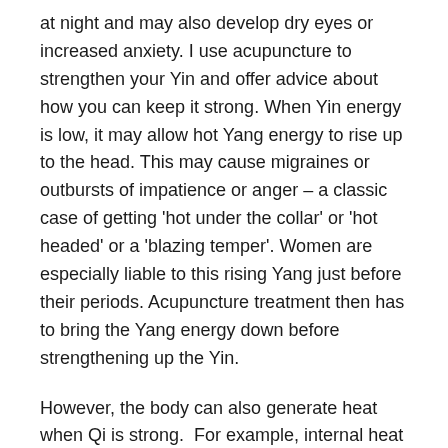at night and may also develop dry eyes or increased anxiety. I use acupuncture to strengthen your Yin and offer advice about how you can keep it strong. When Yin energy is low, it may allow hot Yang energy to rise up to the head. This may cause migraines or outbursts of impatience or anger – a classic case of getting 'hot under the collar' or 'hot headed' or a 'blazing temper'. Women are especially liable to this rising Yang just before their periods. Acupuncture treatment then has to bring the Yang energy down before strengthening up the Yin.
However, the body can also generate heat when Qi is strong.  For example, internal heat is generated if physical or emotional upsets have blocked the free flow of Qi. This is especially likely if you are getting frustrated, resentful or impatient with some aspect of life. It may give rise to obvious heat but may also be experienced as a red skin